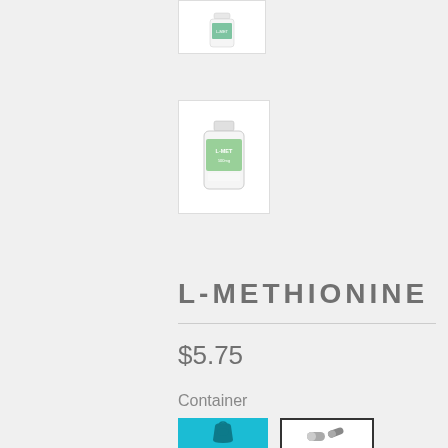[Figure (photo): Small thumbnail of a supplement bottle - top partial view]
[Figure (photo): Thumbnail of a white supplement bottle with green label]
L-METHIONINE
$5.75
Container
[Figure (illustration): Cyan/teal bag icon button for powder container selection]
[Figure (illustration): Capsule icon button with border for capsule container selection]